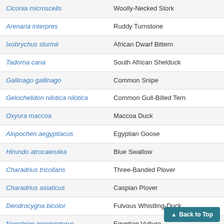| Scientific Name | Common Name |
| --- | --- |
| Ciconia microscelis | Woolly-Necked Stork |
| Arenaria interpres | Ruddy Turnstone |
| Ixobrychus sturmii | African Dwarf Bittern |
| Tadorna cana | South African Shelduck |
| Gallinago gallinago | Common Snipe |
| Gelochelidon nilotica nilotica | Common Gull-Billed Tern |
| Oxyura maccoa | Maccoa Duck |
| Alopochen aegyptiacus | Egyptian Goose |
| Hirundo atrocaerulea | Blue Swallow |
| Charadrius tricollaris | Three-Banded Plover |
| Charadrius asiaticus | Caspian Plover |
| Dendrocygna bicolor | Fulvous Whistling-Duck |
| Neophron percnopterus | Egyptian Vulture |
| Ardeola rufiventris | Rufous-Bellied Heron |